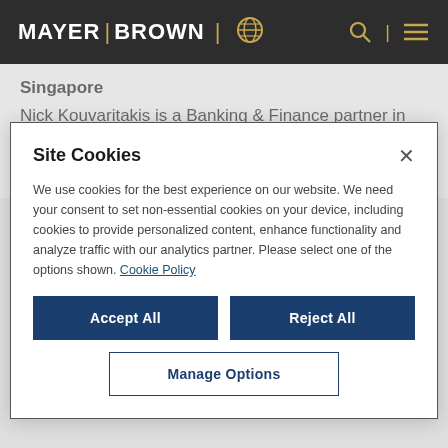MAYER | BROWN
Singapore
Nick Kouvaritakis is a Banking & Finance partner in Singapore and a member of the firm's Oil &
Site Cookies
We use cookies for the best experience on our website. We need your consent to set non-essential cookies on your device, including cookies to provide personalized content, enhance functionality and analyze traffic with our analytics partner. Please select one of the options shown. Cookie Policy